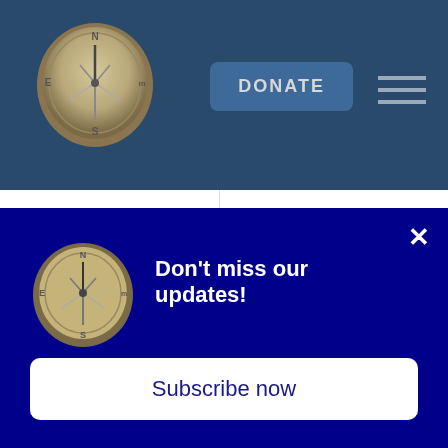[Figure (logo): Compass logo in dark blue navigation header bar with DONATE button and hamburger menu icon]
Entrepreneurship: Economic Potential and Obstacles to Success published by the Bipartisan Policy Center.
career in a new country. It's not atypical for an immigrant to start at a lower rung of the economic and social ladder than they previously enjoyed - but it's a win when they persevere
[Figure (infographic): Popup overlay with dark navy blue background, compass logo, bold white text 'Don't miss our updates!', close X button, and white Subscribe now button]